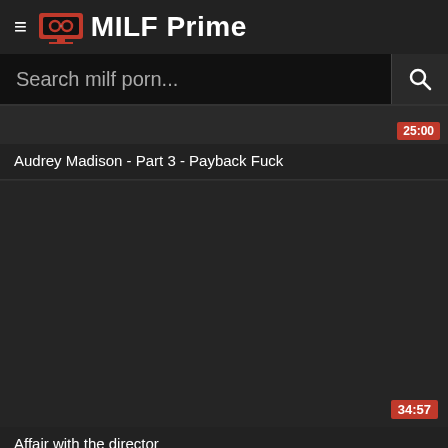MILF Prime
Search milf porn...
Audrey Madison - Part 3 - Payback Fuck
[Figure (screenshot): Dark video thumbnail placeholder]
Affair with the director